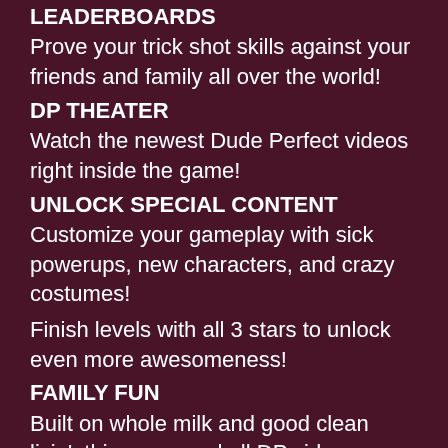LEADERBOARDS
Prove your trick shot skills against your friends and family all over the world!
DP THEATER
Watch the newest Dude Perfect videos right inside the game!
UNLOCK SPECIAL CONTENT
Customize your gameplay with sick powerups, new characters, and crazy costumes!
Finish levels with all 3 stars to unlock even more awesomeness!
FAMILY FUN
Built on whole milk and good clean livin', this game and all DP videos are fun for the whole